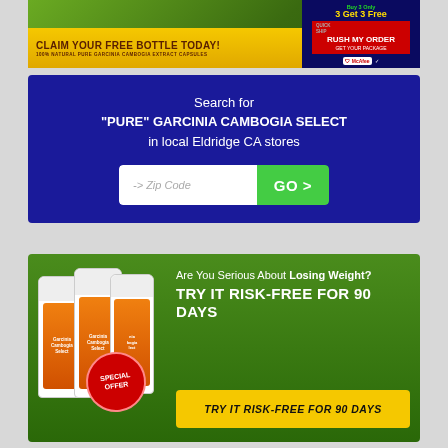[Figure (infographic): Top banner advertisement for Garcinia Cambogia with 'CLAIM YOUR FREE BOTTLE TODAY! 100% NATURAL PURE GARCINIA CAMBOGIA EXTRACT CAPSULES' on yellow bar, and 'Buy 3 Get 3 Free RUSH MY ORDER GET YOUR PACKAGE' on dark blue right side with McAfee security badge]
Search for "PURE" GARCINIA CAMBOGIA SELECT in local Eldridge CA stores
-> Zip Code
GO >
[Figure (infographic): Bottom banner advertisement for Garcinia Cambogia Select showing supplement bottles on green background with text 'Are You Serious About Losing Weight? TRY IT RISK-FREE FOR 90 DAYS' and yellow button 'TRY IT RISK-FREE FOR 90 DAYS' and red 'SPECIAL OFFER' circle badge]